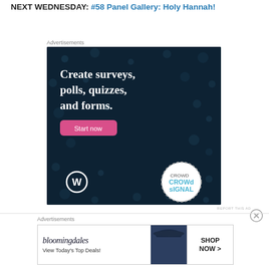NEXT WEDNESDAY: #58 Panel Gallery: Holy Hannah!
Advertisements
[Figure (screenshot): Advertisement banner for Crowdsignal/WordPress: dark navy background with polka dots, white serif text 'Create surveys, polls, quizzes, and forms.', pink 'Start now' button, WordPress logo bottom left, Crowdsignal circular badge bottom right.]
REPORT THIS AD
Advertisements
[Figure (screenshot): Bloomingdale's advertisement banner: white background with cursive Bloomingdale's brand name, 'View Today's Top Deals!' tagline, model with wide-brim hat on right, 'SHOP NOW >' button on far right.]